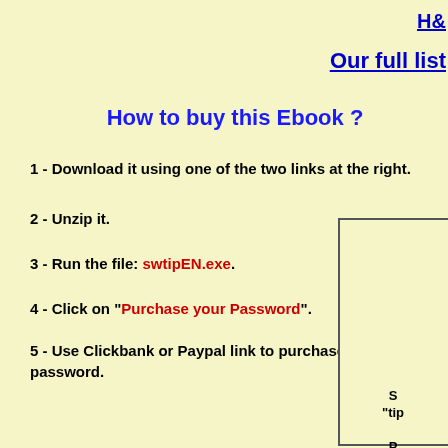H&
Our full list
How to buy this Ebook ?
1 - Download it using one of the two links at the right.
2 - Unzip it.
3 - Run the file: swtipEN.exe.
4 - Click on "Purchase your Password".
5 -  Use Clickbank or Paypal link to purchase your password.
Sï¿½ "tipï¿½ P